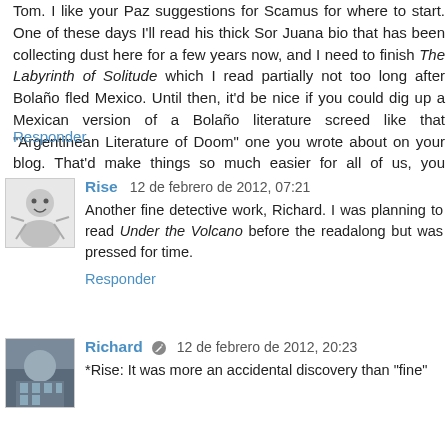Tom. I like your Paz suggestions for Scamus for where to start. One of these days I'll read his thick Sor Juana bio that has been collecting dust here for a few years now, and I need to finish The Labyrinth of Solitude which I read partially not too long after Bolaño fled Mexico. Until then, it'd be nice if you could dig up a Mexican version of a Bolaño literature screed like that "Argentinean Literature of Doom" one you wrote about on your blog. That'd make things so much easier for all of us, you know?!?
Responder
[Figure (illustration): Small avatar illustration of a cartoon character (Rise)]
Rise  12 de febrero de 2012, 07:21
Another fine detective work, Richard. I was planning to read Under the Volcano before the readalong but was pressed for time.
Responder
[Figure (photo): Small avatar photo of Richard]
Richard  12 de febrero de 2012, 20:23
*Rise: It was more an accidental discovery than "fine"